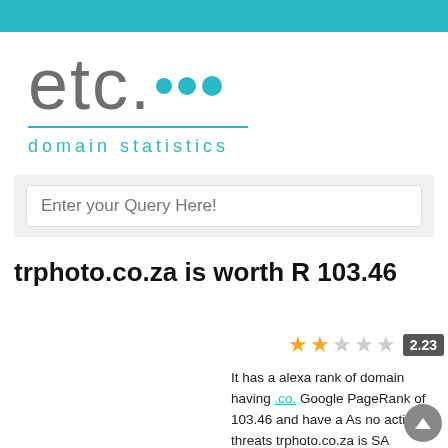[Figure (logo): etc... domain statistics logo with teal dots and teal underline and teal text]
Enter your Query Here!
trphoto.co.za is worth R 103.46
[Figure (other): 2-star rating out of 5 with score badge showing 2.23]
It has a alexa rank of domain having .co. Google PageRank of 103.46 and have a As no active threats trphoto.co.za is SA